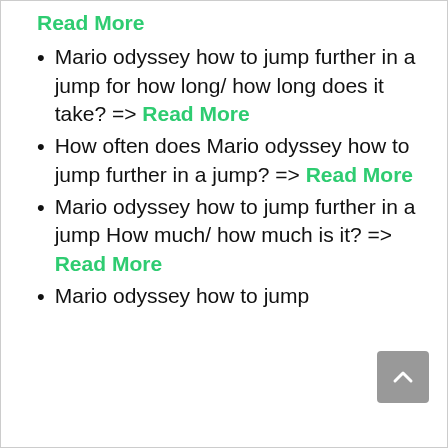Read More
Mario odyssey how to jump further in a jump for how long/ how long does it take? => Read More
How often does Mario odyssey how to jump further in a jump? => Read More
Mario odyssey how to jump further in a jump How much/ how much is it? => Read More
Mario odyssey how to jump